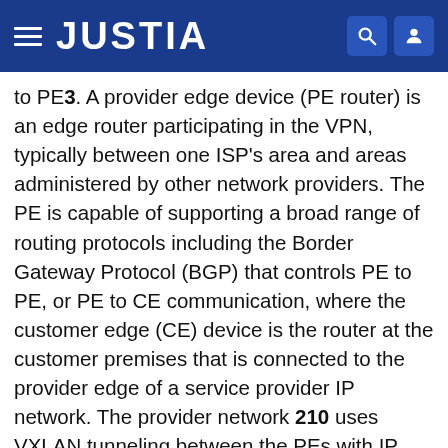JUSTIA
to PE3. A provider edge device (PE router) is an edge router participating in the VPN, typically between one ISP's area and areas administered by other network providers. The PE is capable of supporting a broad range of routing protocols including the Border Gateway Protocol (BGP) that controls PE to PE, or PE to CE communication, where the customer edge (CE) device is the router at the customer premises that is connected to the provider edge of a service provider IP network. The provider network 210 uses VXLAN tunneling between the PEs with IP routing as underlay for packet forwarding in the data-plane. In an embodiment, the PEs run BGP-EVPN (e.g., as per RFC 7432 and draft-ietf-bess-evpn-overlay) in the control-plane to communicate and distribute information with each other. It should be noted that hosts can also be connected directly to the PEs without a CE. For purposes of illustration, a host (H)